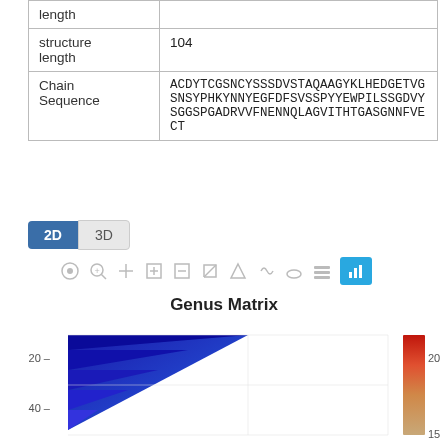|  |  |
| --- | --- |
| length |  |
| structure length | 104 |
| Chain Sequence | ACDYTCGSNCYSSSDVSTAQAAGYKLHEDGETVGSNSYPHKYNNYEGFDFSVSSPYYEWPILSSGDVYSGGSPGADRVVFNENNQLAGVITHTGASGNNFVECT |
[Figure (screenshot): 2D/3D toggle buttons with 2D selected (blue) and 3D unselected (gray)]
[Figure (screenshot): Toolbar with icons: camera, zoom, pan, add, subtract, resize, home, lasso, erase, layers, bar-chart (highlighted blue)]
Genus Matrix
[Figure (other): Genus Matrix heatmap showing a triangular matrix in blue shades with a color scale bar on the right ranging from ~15 to 20+ (red at top, orange/tan at bottom). Y-axis labels: 20, 40.]